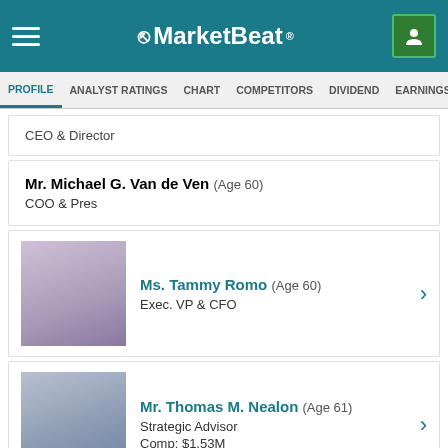MarketBeat
PROFILE | ANALYST RATINGS | CHART | COMPETITORS | DIVIDEND | EARNINGS
CEO & Director
Mr. Michael G. Van de Ven (Age 60)
COO & Pres
Ms. Tammy Romo (Age 60)
Exec. VP & CFO
Mr. Thomas M. Nealon (Age 61)
Strategic Advisor
Comp: $1.53M
MORE EXECUTIVES